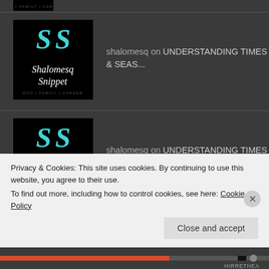[Figure (logo): Shalomesq Snippet logo – teal SS letters on black background with GOD | FAMILY | CAREER text]
shalomesq on UNDERSTANDING TIMES & SEAS...
[Figure (logo): Shalomesq Snippet logo – teal SS letters on black background with GOD | FAMILY | CAREER text]
shalomesq on UNDERSTANDING TIMES & SEAS...
Privacy & Cookies: This site uses cookies. By continuing to use this website, you agree to their use.
To find out more, including how to control cookies, see here: Cookie Policy
Close and accept